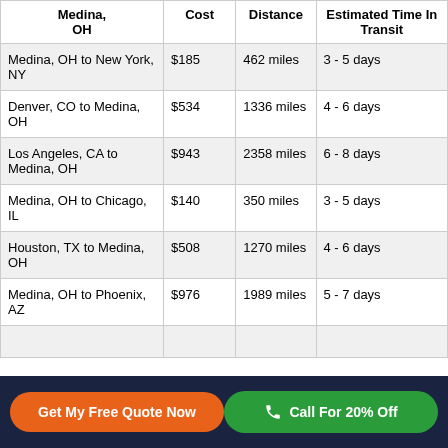| Medina, OH | Cost | Distance | Estimated Time In Transit |
| --- | --- | --- | --- |
| Medina, OH to New York, NY | $185 | 462 miles | 3 - 5 days |
| Denver, CO to Medina, OH | $534 | 1336 miles | 4 - 6 days |
| Los Angeles, CA to Medina, OH | $943 | 2358 miles | 6 - 8 days |
| Medina, OH to Chicago, IL | $140 | 350 miles | 3 - 5 days |
| Houston, TX to Medina, OH | $508 | 1270 miles | 4 - 6 days |
| Medina, OH to Phoenix, AZ | $976 | 1989 miles | 5 - 7 days |
Get My Free Quote Now
Call For 20% Off